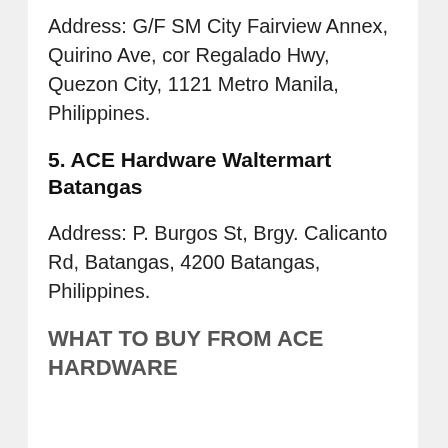Address: G/F SM City Fairview Annex, Quirino Ave, cor Regalado Hwy, Quezon City, 1121 Metro Manila, Philippines.
5. ACE Hardware Waltermart Batangas
Address: P. Burgos St, Brgy. Calicanto Rd, Batangas, 4200 Batangas, Philippines.
WHAT TO BUY FROM ACE HARDWARE